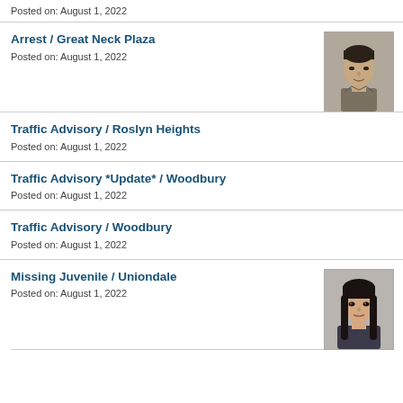Posted on: August 1, 2022
Arrest / Great Neck Plaza
Posted on: August 1, 2022
[Figure (photo): Mugshot photo of an Asian man, middle-aged, neutral expression, gray/dark clothing, against a plain background]
Traffic Advisory / Roslyn Heights
Posted on: August 1, 2022
Traffic Advisory *Update* / Woodbury
Posted on: August 1, 2022
Traffic Advisory / Woodbury
Posted on: August 1, 2022
Missing Juvenile / Uniondale
Posted on: August 1, 2022
[Figure (photo): Photo of a young Asian woman with long dark hair, looking directly at camera, against a plain background]